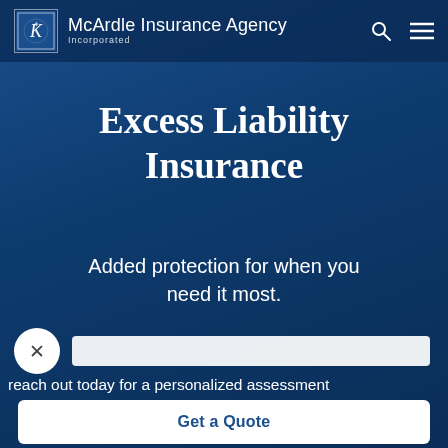McArdle Insurance Agency Incorporated
Excess Liability Insurance
Added protection for when you need it most.
reach out today for a personalized assessment
Get a Quote
Contact Us